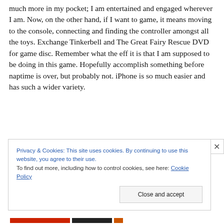much more in my pocket; I am entertained and engaged wherever I am. Now, on the other hand, if I want to game, it means moving to the console, connecting and finding the controller amongst all the toys. Exchange Tinkerbell and The Great Fairy Rescue DVD for game disc. Remember what the eff it is that I am supposed to be doing in this game. Hopefully accomplish something before naptime is over, but probably not. iPhone is so much easier and has such a wider variety.
Privacy & Cookies: This site uses cookies. By continuing to use this website, you agree to their use.
To find out more, including how to control cookies, see here: Cookie Policy
Close and accept